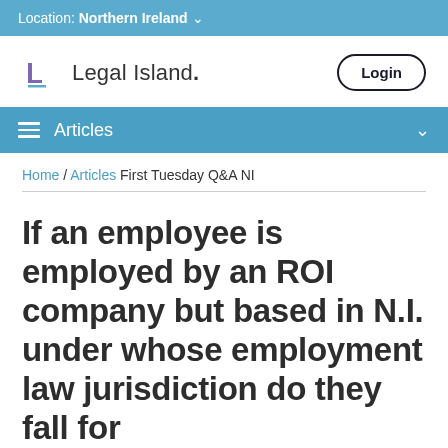Location: Northern Ireland
[Figure (logo): Legal Island logo with stylized L icon and text 'Legal Island.' with a Login button on the right]
Articles
Home / Articles First Tuesday Q&A NI
If an employee is employed by an ROI company but based in N.I. under whose employment law jurisdiction do they fall for